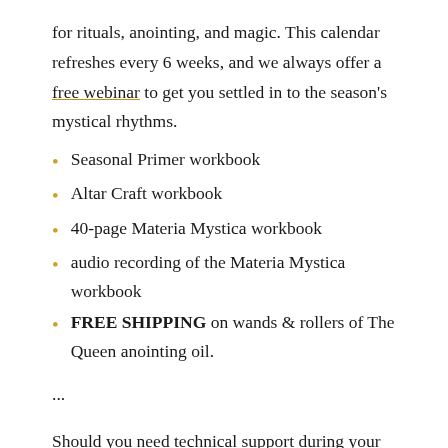for rituals, anointing, and magic. This calendar refreshes every 6 weeks, and we always offer a free webinar to get you settled in to the season's mystical rhythms.
Seasonal Primer workbook
Altar Craft workbook
40-page Materia Mystica workbook
audio recording of the Materia Mystica workbook
FREE SHIPPING on wands & rollers of The Queen anointing oil.
...
Should you need technical support during your course, just email us at riverislandapothecaryassist@gmail.com.